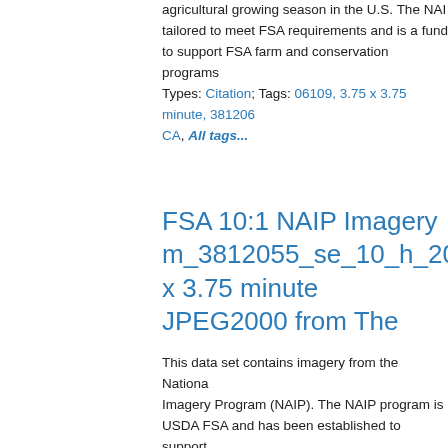agricultural growing season in the U.S. The NAI tailored to meet FSA requirements and is a fund to support FSA farm and conservation programs
Types: Citation; Tags: 06109, 3.75 x 3.75 minute, 381206 CA, All tags...
FSA 10:1 NAIP Imagery m_3812055_se_10_h_20160622_2 x 3.75 minute JPEG2000 from The
This data set contains imagery from the Nationa Imagery Program (NAIP). The NAIP program is USDA FSA and has been established to support strategic goals centered on agricultural producti increase stewardship of America's natural resou enhancing the environment, and to ensure comm procured and distributed effectively and efficient security. The NAIP program supports these goa providing ortho imagery that has been collected agricultural growing season in the U.S. The NAI tailored to meet FSA requirements and is a fund to support FSA farm and conservation programs
Types: Citation; Tags: 06109, 3.75 x 3.75 minute, 381205 CA, All tags...